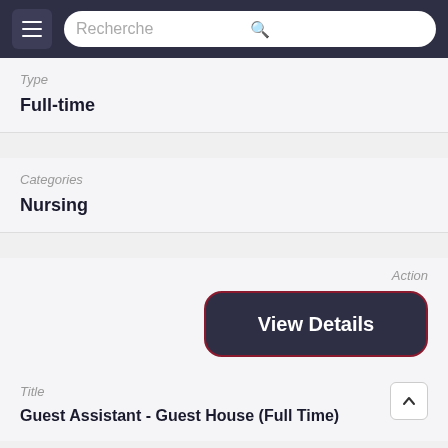Recherche
Type
Full-time
Categories
Nursing
Action
View Details
Title
Guest Assistant - Guest House (Full Time)